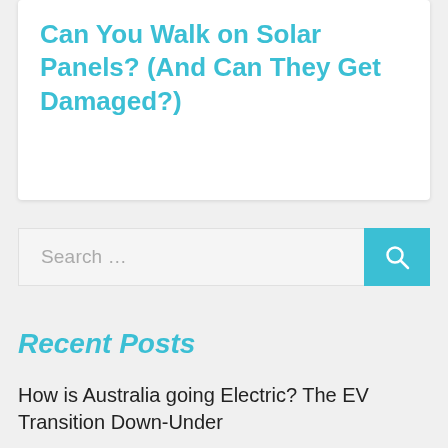Can You Walk on Solar Panels? (And Can They Get Damaged?)
Search …
Recent Posts
How is Australia going Electric? The EV Transition Down-Under